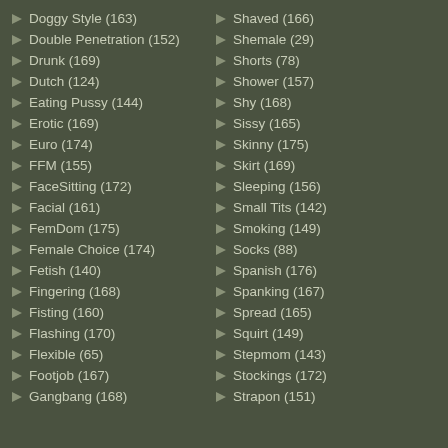Doggy Style (163)
Double Penetration (152)
Drunk (169)
Dutch (124)
Eating Pussy (144)
Erotic (169)
Euro (174)
FFM (155)
FaceSitting (172)
Facial (161)
FemDom (175)
Female Choice (174)
Fetish (140)
Fingering (168)
Fisting (160)
Flashing (170)
Flexible (65)
Footjob (167)
Gangbang (168)
Shaved (166)
Shemale (29)
Shorts (78)
Shower (157)
Shy (168)
Sissy (165)
Skinny (175)
Skirt (169)
Sleeping (156)
Small Tits (142)
Smoking (149)
Socks (88)
Spanish (176)
Spanking (167)
Spread (165)
Squirt (149)
Stepmom (143)
Stockings (172)
Strapon (151)